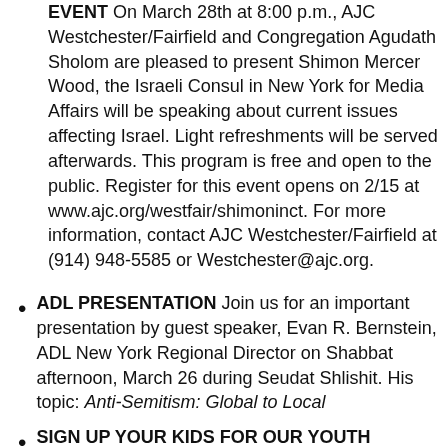EVENT On March 28th at 8:00 p.m., AJC Westchester/Fairfield and Congregation Agudath Sholom are pleased to present Shimon Mercer Wood, the Israeli Consul in New York for Media Affairs will be speaking about current issues affecting Israel. Light refreshments will be served afterwards. This program is free and open to the public. Register for this event opens on 2/15 at www.ajc.org/westfair/shimoninct. For more information, contact AJC Westchester/Fairfield at (914) 948-5585 or Westchester@ajc.org.
ADL PRESENTATION Join us for an important presentation by guest speaker, Evan R. Bernstein, ADL New York Regional Director on Shabbat afternoon, March 26 during Seudat Shlishit. His topic: Anti-Semitism: Global to Local
SIGN UP YOUR KIDS FOR OUR YOUTH GROUPS! This is a very important security measure. It is imperative for our group leaders to know the children who participate in Shabbos